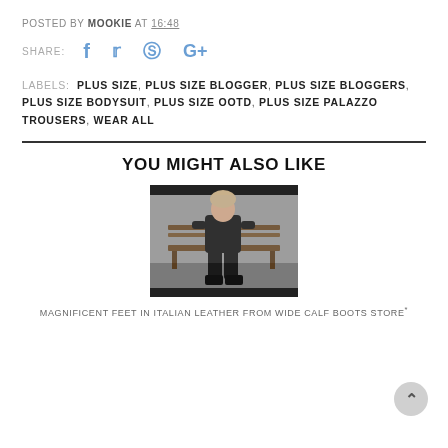POSTED BY MOOKIE AT 16:48
SHARE:
LABELS: PLUS SIZE, PLUS SIZE BLOGGER, PLUS SIZE BLOGGERS, PLUS SIZE BODYSUIT, PLUS SIZE OOTD, PLUS SIZE PALAZZO TROUSERS, WEAR ALL
YOU MIGHT ALSO LIKE
[Figure (photo): Person sitting on a bench outdoors, wearing dark clothing, photographed in black and white.]
MAGNIFICENT FEET IN ITALIAN LEATHER FROM WIDE CALF BOOTS STORE*